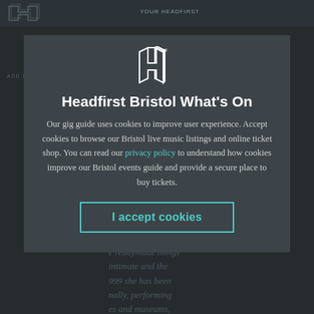[Figure (screenshot): Headfirst Bristol website screenshot showing dark header bar with H logo and navigation, partially visible article text in the background behind a cookie consent modal overlay.]
[Figure (logo): Headfirst Bristol geometric H logo in white outline style, displayed at top of cookie consent modal.]
Headfirst Bristol What's On
Our gig guide uses cookies to improve user experience. Accept cookies to browse our Bristol live music listings and online ticket shop. You can read our privacy policy to understand how cookies improve our Bristol events guide and provide a secure place to buy tickets.
I accept cookies